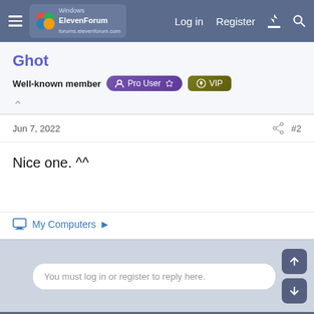ElevenForum — Log in  Register
Ghot
Well-known member  Pro User ☆  VIP
Jun 7, 2022  #2
Nice one. ^^
My Computers ▶
You must log in or register to reply here.
Similar Windows 11 Tutorials